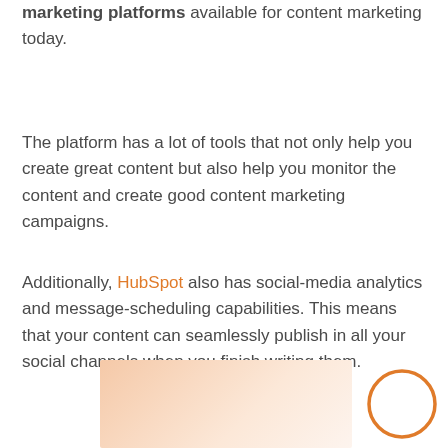marketing platforms available for content marketing today.
The platform has a lot of tools that not only help you create great content but also help you monitor the content and create good content marketing campaigns.
Additionally, HubSpot also has social-media analytics and message-scheduling capabilities. This means that your content can seamlessly publish in all your social channels when you finish writing them.
[Figure (illustration): Partial image with peach/salmon gradient background visible at bottom of page, with an orange outlined circle button on the right side.]